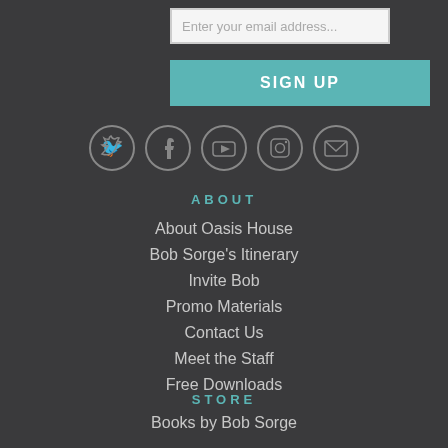Enter your email address...
SIGN UP
[Figure (infographic): Row of 5 social media icon circles: Twitter, Facebook, YouTube, Instagram, Email]
ABOUT
About Oasis House
Bob Sorge's Itinerary
Invite Bob
Promo Materials
Contact Us
Meet the Staff
Free Downloads
STORE
Books by Bob Sorge